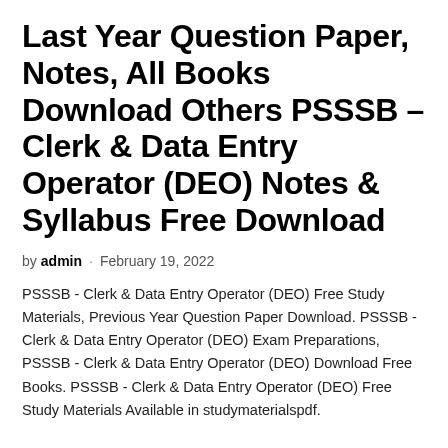Last Year Question Paper, Notes, All Books Download Others PSSSB – Clerk & Data Entry Operator (DEO) Notes & Syllabus Free Download
by admin · February 19, 2022
PSSSB - Clerk & Data Entry Operator (DEO) Free Study Materials, Previous Year Question Paper Download. PSSSB - Clerk & Data Entry Operator (DEO) Exam Preparations, PSSSB - Clerk & Data Entry Operator (DEO) Download Free Books. PSSSB - Clerk & Data Entry Operator (DEO) Free Study Materials Available in studymaterialspdf.